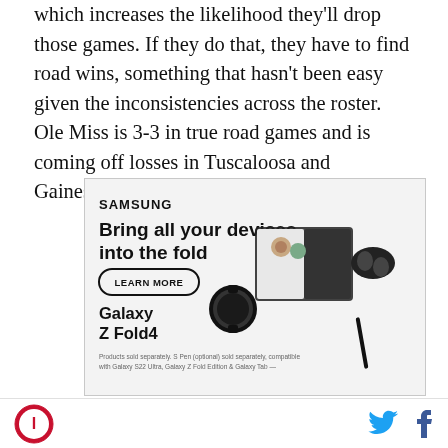which increases the likelihood they'll drop those games. If they do that, they have to find road wins, something that hasn't been easy given the inconsistencies across the roster. Ole Miss is 3-3 in true road games and is coming off losses in Tuscaloosa and Gainesville.
[Figure (advertisement): Samsung advertisement for Galaxy Z Fold4 with tagline 'Bring all your devices into the fold', a Learn More button, product image showing a foldable phone with video call and earbuds, and disclaimer text.]
Site logo | Twitter icon | Facebook icon